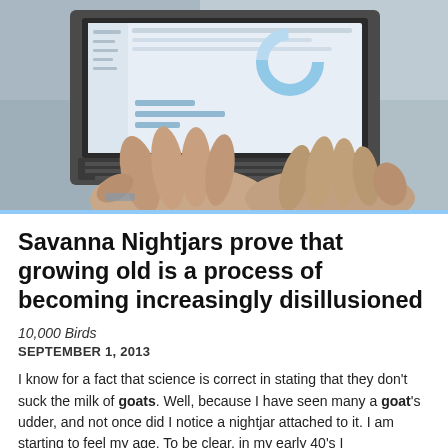[Figure (photo): Person typing on a laptop computer, viewed from above and slightly behind, showing hands on keyboard and laptop screen displaying a dashboard or analytics interface]
Savanna Nightjars prove that growing old is a process of becoming increasingly disillusioned
10,000 Birds
SEPTEMBER 1, 2013
I know for a fact that science is correct in stating that they don't suck the milk of goats. Well, because I have seen many a goat's udder, and not once did I notice a nightjar attached to it. I am starting to feel my age. To be clear, in my early 40's I